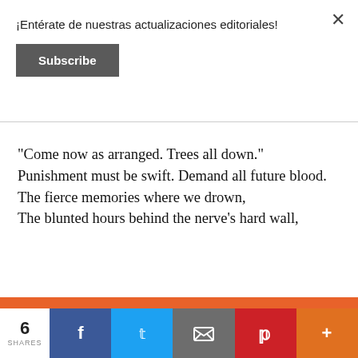¡Entérate de nuestras actualizaciones editoriales!
Subscribe
“Come now as arranged. Trees all down.”
Punishment must be swift. Demand all future blood.
The fierce memories where we drown,
The blunted hours behind the nerve’s hard wall,
Esta página web usa cookies para mejorar la experiencia del usuario.  Más información
¡Acepto!
6
SHARES